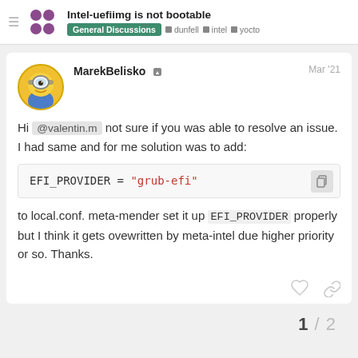Intel-uefiimg is not bootable | General Discussions | dunfell | intel | yocto
MarekBelisko  Mar '21
Hi @valentin.m not sure if you was able to resolve an issue. I had same and for me solution was to add:
EFI_PROVIDER = "grub-efi"
to local.conf. meta-mender set it up EFI_PROVIDER properly but I think it gets ovewritten by meta-intel due higher priority or so. Thanks.
1 / 2